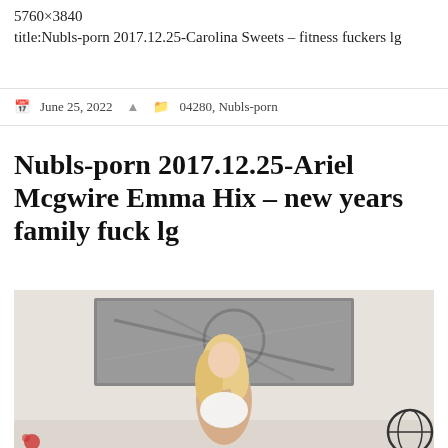5760×3840
title:Nubls-porn 2017.12.25-Carolina Sweets – fitness fuckers lg
June 25, 2022   04280, Nubls-porn
Nubls-porn 2017.12.25-Ariel Mcgwire Emma Hix – new years family fuck lg
[Figure (photo): Photo of a blonde woman in white lingerie standing in front of a framed artwork on a white wall. A globe-like object is visible at the bottom right.]